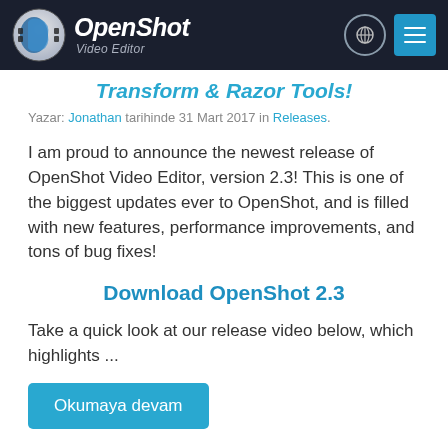[Figure (logo): OpenShot Video Editor logo with navigation bar on dark background, including globe icon and hamburger menu button]
Transform & Razor Tools!
Yazar: Jonathan tarihinde 31 Mart 2017 in Releases.
I am proud to announce the newest release of OpenShot Video Editor, version 2.3! This is one of the biggest updates ever to OpenShot, and is filled with new features, performance improvements, and tons of bug fixes!
Download OpenShot 2.3
Take a quick look at our release video below, which highlights ...
Okumaya devam